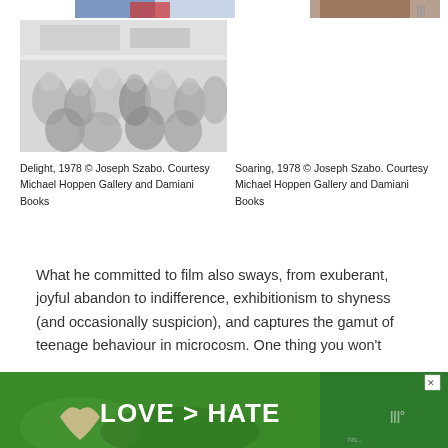[Figure (photo): Partial top strip showing two cropped photos: left is a colorful photo (people in blue/red), right is a brownish/orange image, both cropped to show only the bottom edge.]
[Figure (photo): Grayscale photograph of a crowd of people, labeled Delight 1978 by Joseph Szabo.]
Delight, 1978 © Joseph Szabo. Courtesy Michael Hoppen Gallery and Damiani Books
Soaring, 1978 © Joseph Szabo. Courtesy Michael Hoppen Gallery and Damiani Books
What he committed to film also sways, from exuberant, joyful abandon to indifference, exhibitionism to shyness (and occasionally suspicion), and captures the gamut of teenage behaviour in microcosm. One thing you won't
[Figure (photo): Advertisement banner with green background showing hands forming a heart shape and text LOVE > HATE in white bold letters.]